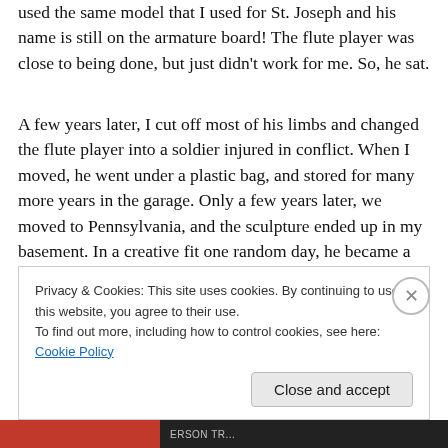used the same model that I used for St. Joseph and his name is still on the armature board! The flute player was close to being done, but just didn't work for me. So, he sat.
A few years later, I cut off most of his limbs and changed the flute player into a soldier injured in conflict. When I moved, he went under a plastic bag, and stored for many more years in the garage. Only a few years later, we moved to Pennsylvania, and the sculpture ended up in my basement. In a creative fit one random day, he became a she.
Privacy & Cookies: This site uses cookies. By continuing to use this website, you agree to their use. To find out more, including how to control cookies, see here: Cookie Policy